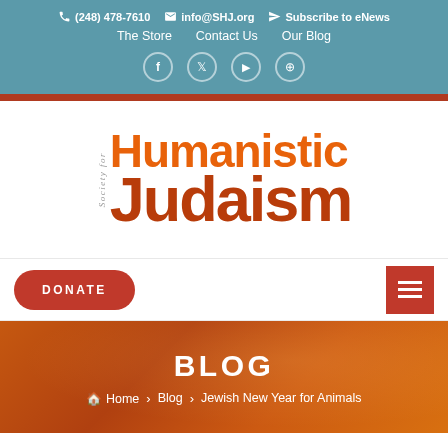(248) 478-7610  info@SHJ.org  Subscribe to eNews  The Store  Contact Us  Our Blog
[Figure (logo): Society for Humanistic Judaism logo with orange gradient text]
DONATE
BLOG
Home > Blog > Jewish New Year for Animals